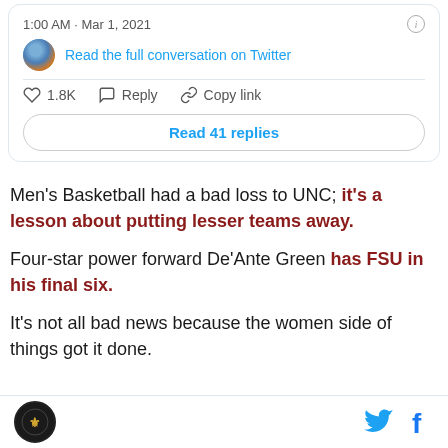[Figure (screenshot): Twitter/X embedded tweet card showing timestamp '1:00 AM · Mar 1, 2021', a 'Read the full conversation on Twitter' link with avatar, heart icon with count 1.8K, Reply, Copy link actions, and a 'Read 41 replies' button.]
Men's Basketball had a bad loss to UNC; it's a lesson about putting lesser teams away.
Four-star power forward De'Ante Green has FSU in his final six.
It's not all bad news because the women side of things got it done.
Logo and social share icons (Twitter, Facebook)